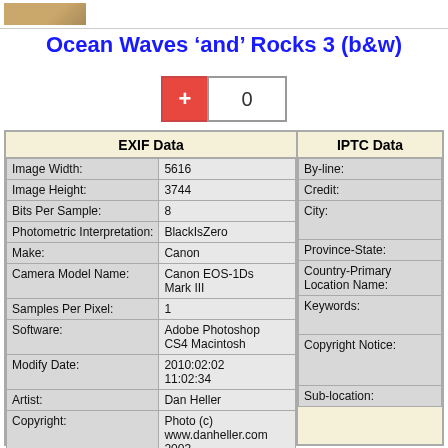Ocean Waves ‘and’ Rocks 3 (b&w)
| Field | Value |
| --- | --- |
| Image Width: | 5616 |
| Image Height: | 3744 |
| Bits Per Sample: | 8 |
| Photometric Interpretation: | BlackIsZero |
| Make: | Canon |
| Camera Model Name: | Canon EOS-1Ds Mark III |
| Samples Per Pixel: | 1 |
| Software: | Adobe Photoshop CS4 Macintosh |
| Modify Date: | 2010:02:02 11:02:34 |
| Artist: | Dan Heller |
| Copyright: | Photo (c) www.danheller.com 2003 |
| Exposure Time: | 1/500 |
| F Number: | 10.0 |
| IPTC Field |
| --- |
| By-line: |
| Credit: |
| City: |
| Province-State: |
| Country-Primary Location Name: |
| Keywords: |
| Copyright Notice: |
| Sub-location: |